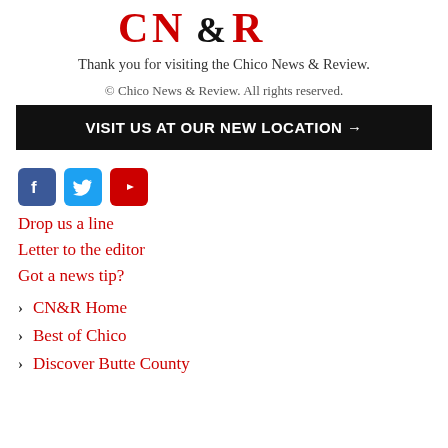[Figure (logo): CN&R logo in red and black text]
Thank you for visiting the Chico News & Review.
© Chico News & Review. All rights reserved.
VISIT US AT OUR NEW LOCATION →
[Figure (other): Social media icons: Facebook, Twitter, YouTube]
Drop us a line
Letter to the editor
Got a news tip?
CN&R Home
Best of Chico
Discover Butte County